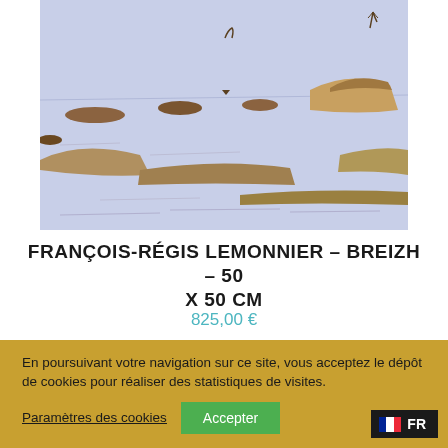[Figure (illustration): A landscape artwork showing a coastal or winter scene with brownish-earth tones on a pale lavender-blue background, featuring rocky or land forms and distant figures or trees]
François-RÉGIS LEMONNIER – BREIZH – 50 X 50 CM
825,00 €
En poursuivant votre navigation sur ce site, vous acceptez le dépôt de cookies pour réaliser des statistiques de visites.
Paramètres des cookies
Accepter
FR